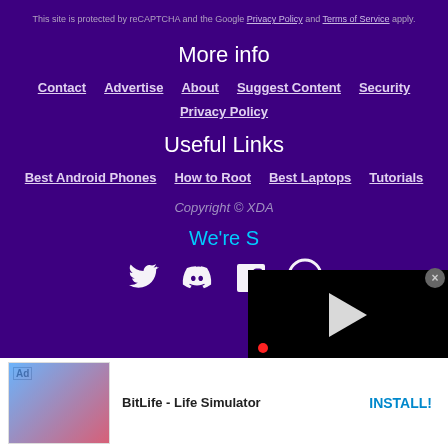This site is protected by reCAPTCHA and the Google Privacy Policy and Terms of Service apply.
More info
Contact
Advertise
About
Suggest Content
Security
Privacy Policy
Useful Links
Best Android Phones
How to Root
Best Laptops
Tutorials
Copyright © XDA
We're S
[Figure (screenshot): Video player overlay with play button, red dot indicator, and playback controls on black background]
[Figure (screenshot): Ad unit showing BitLife - Life Simulator app with game screenshot and INSTALL! button]